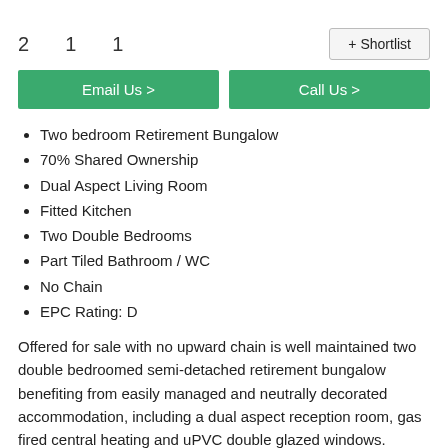2   1   1
+ Shortlist
Email Us >
Call Us >
Two bedroom Retirement Bungalow
70% Shared Ownership
Dual Aspect Living Room
Fitted Kitchen
Two Double Bedrooms
Part Tiled Bathroom / WC
No Chain
EPC Rating: D
Offered for sale with no upward chain is well maintained two double bedroomed semi-detached retirement bungalow benefiting from easily managed and neutrally decorated accommodation, including a dual aspect reception room, gas fired central heating and uPVC double glazed windows.